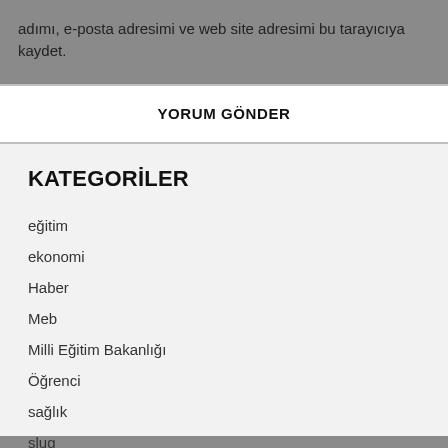adımı, e-posta adresimi ve web site adresimi bu tarayıcıya kaydet.
YORUM GÖNDER
KATEGORİLER
eğitim
ekonomi
Haber
Meb
Milli Eğitim Bakanlığı
Öğrenci
sağlık
slug
Tanıtım